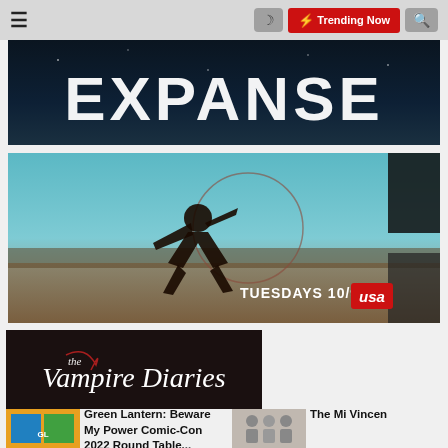≡  🌙  ⚡ Trending Now  🔍
[Figure (screenshot): The Expanse TV show banner with large white letters on dark background reading EXPANSE]
[Figure (screenshot): USA Network TV show promotional image — man in action pose outdoors over cityscape with crosshair overlay. Text reads TUESDAYS 10/9C with USA logo.]
[Figure (screenshot): The Vampire Diaries logo on dark background — cursive and serif mixed font, white text on black]
[Figure (screenshot): Green Lantern: Beware My Power comic-con thumbnail]
Green Lantern: Beware My Power Comic-Con 2022 Round Table...
[Figure (screenshot): Family group photo thumbnail]
The Mi Vincen